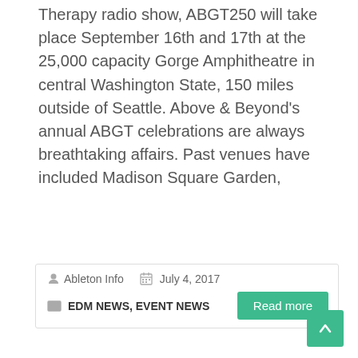Therapy radio show, ABGT250 will take place September 16th and 17th at the 25,000 capacity Gorge Amphitheatre in central Washington State, 150 miles outside of Seattle. Above & Beyond's annual ABGT celebrations are always breathtaking affairs. Past venues have included Madison Square Garden,
Ableton Info   July 4, 2017   EDM NEWS, EVENT NEWS
Read more
ELECTRIC ZOO Music Festival Sept 1-3 NYC Announces Day By Day Line-Up